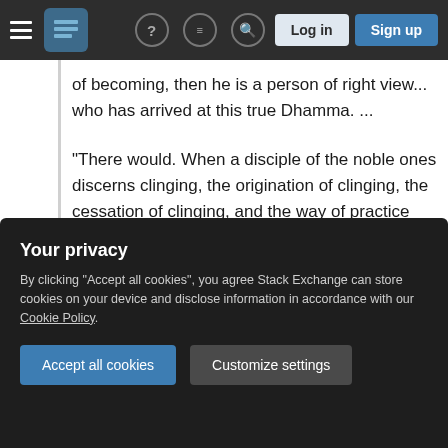Navigation bar with menu, logo, icons, Log in and Sign up buttons
of becoming, then he is a person of right view... who has arrived at this true Dhamma. ...
"There would. When a disciple of the noble ones discerns clinging, the origination of clinging, the cessation of clinging, and the way of practice leading to the cessation of clinging, then he is a person of right view... who has arrived at this true Dhamma. ...
"There would. When a disciple of the noble
Your privacy
By clicking "Accept all cookies", you agree Stack Exchange can store cookies on your device and disclose information in accordance with our Cookie Policy.
"There would. When a disciple of the noble